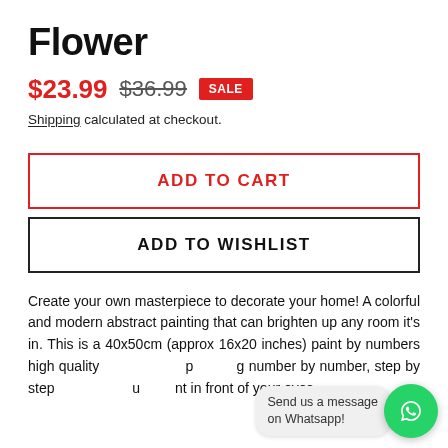Flower
$23.99  $36.99  SALE
Shipping calculated at checkout.
ADD TO CART
ADD TO WISHLIST
Create your own masterpiece to decorate your home! A colorful and modern abstract painting that can brighten up any room it's in. This is a 40x50cm (approx 16x20 inches) paint by numbers high quality … p… g number by number, step by step … u… nt in front of your eyes.
[Figure (other): WhatsApp chat button overlay with green circle icon and 'Send us a message on Whatsapp!' bubble]